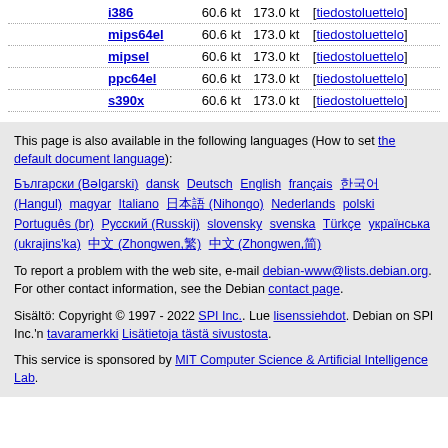| Architecture | Size1 | Size2 | Link |
| --- | --- | --- | --- |
| i386 | 60.6 kt | 173.0 kt | [tiedostoluettelo] |
| mips64el | 60.6 kt | 173.0 kt | [tiedostoluettelo] |
| mipsel | 60.6 kt | 173.0 kt | [tiedostoluettelo] |
| ppc64el | 60.6 kt | 173.0 kt | [tiedostoluettelo] |
| s390x | 60.6 kt | 173.0 kt | [tiedostoluettelo] |
This page is also available in the following languages (How to set the default document language):
Български (Bəlgarski) dansk Deutsch English français 한국어 (Hangul) magyar Italiano 日本語 (Nihongo) Nederlands polski Português (br) Русский (Russkij) slovensky svenska Türkçe українська (ukrajins'ka) 中文 (Zhongwen,繁) 中文 (Zhongwen,简)
To report a problem with the web site, e-mail debian-www@lists.debian.org. For other contact information, see the Debian contact page.
Sisältö: Copyright © 1997 - 2022 SPI Inc.. Lue lisenssiehdot. Debian on SPI Inc.'n tavaramerkki Lisätietoja tästä sivustosta.
This service is sponsored by MIT Computer Science & Artificial Intelligence Lab.